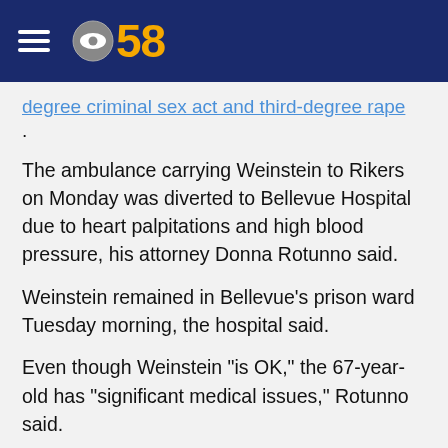CBS 58
degree criminal sex act and third-degree rape.
The ambulance carrying Weinstein to Rikers on Monday was diverted to Bellevue Hospital due to heart palpitations and high blood pressure, his attorney Donna Rotunno said.
Weinstein remained in Bellevue's prison ward Tuesday morning, the hospital said.
Even though Weinstein "is OK," the 67-year-old has "significant medical issues," Rotunno said.
Another of his lawyers, Arthur Aidala, said he is strong and wants to keep fighting.
There is no update on when Weinstein will go to Rikers Island...